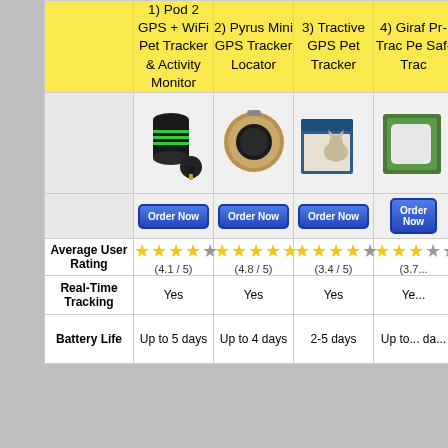|  | 1) Pod 2 GPS + WiFi Pet Tracker & Activity Monitor | 2) Pyrus Mini GPS Tracker Locator | 3) Tractive GPS Pet Tracker | 4) Giraf... Pr... Track... Pe... Saf... Trac... |
| --- | --- | --- | --- | --- |
|  | [product image] | [product image] | [product image] | [product image] |
|  | Order Now | Order Now | Order Now | Order Now |
| Average User Rating | ★★★★☆ (4.1 / 5) | ★★★★★ (4.8 / 5) | ★★★★☆ (3.4 / 5) | ★★★☆ (3.7...) |
| Real-Time Tracking | Yes | Yes | Yes | Ye... |
| Battery Life | Up to 5 days | Up to 4 days | 2-5 days | Up to... da... |